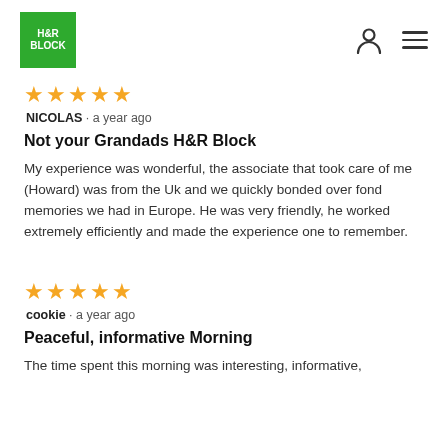[Figure (logo): H&R Block green square logo with white text]
★★★★★
NICOLAS · a year ago
Not your Grandads H&R Block
My experience was wonderful, the associate that took care of me (Howard) was from the Uk and we quickly bonded over fond memories we had in Europe. He was very friendly, he worked extremely efficiently and made the experience one to remember.
★★★★★
cookie · a year ago
Peaceful, informative Morning
The time spent this morning was interesting, informative,